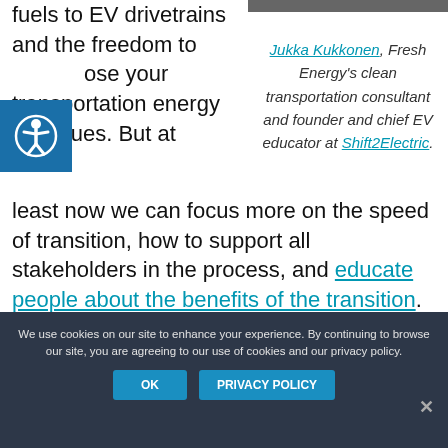fuels to EV drivetrains and the freedom to choose your transportation energy continues. But at least now we can focus more on the speed of transition, how to support all stakeholders in the process, and educate people about the benefits of the transition.
Jukka Kukkonen, Fresh Energy's clean transportation consultant and founder and chief EV educator at Shift2Electric.
We use cookies on our site to enhance your experience. By continuing to browse our site, you are agreeing to our use of cookies and our privacy policy.